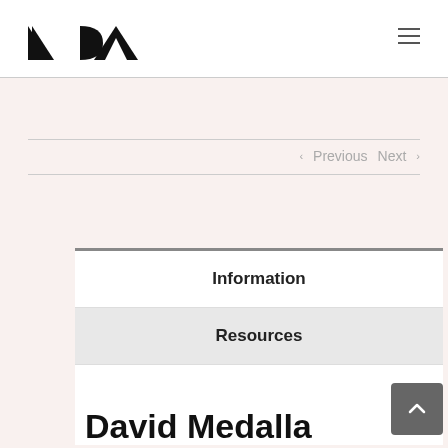MADA logo and hamburger menu
< Previous   Next >
Information
Resources
David Medalla